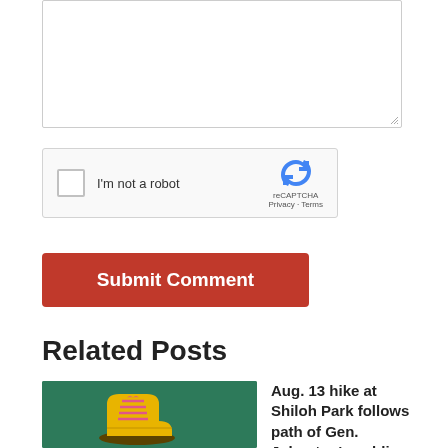[Figure (screenshot): Comment textarea input box (empty, white background with grey border and resize handle)]
[Figure (screenshot): reCAPTCHA widget with checkbox, 'I'm not a robot' label, and Google reCAPTCHA logo with Privacy and Terms links]
[Figure (screenshot): Red 'Submit Comment' button]
Related Posts
[Figure (photo): Thumbnail image of a yellow hiking boot on a dark green background]
Aug. 13 hike at Shiloh Park follows path of Gen. Johnston's soldiers
August 11, 2022 | No Comments »